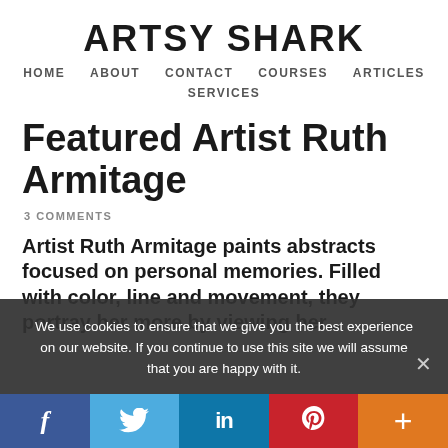ARTSY SHARK
HOME   ABOUT   CONTACT   COURSES   ARTICLES   SERVICES
Featured Artist Ruth Armitage
3 COMMENTS
Artist Ruth Armitage paints abstracts focused on personal memories. Filled with color, line and movement, they portray her
We use cookies to ensure that we give you the best experience on our website. If you continue to use this site we will assume that you are happy with it.